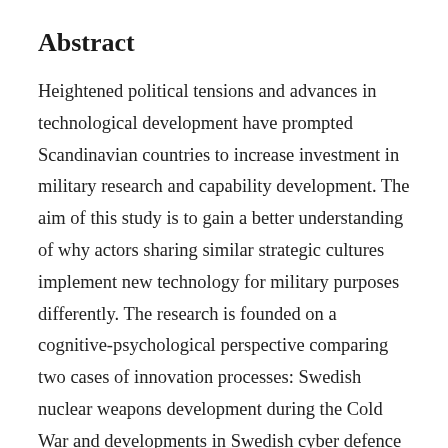Abstract
Heightened political tensions and advances in technological development have prompted Scandinavian countries to increase investment in military research and capability development. The aim of this study is to gain a better understanding of why actors sharing similar strategic cultures implement new technology for military purposes differently. The research is founded on a cognitive-psychological perspective comparing two cases of innovation processes: Swedish nuclear weapons development during the Cold War and developments in Swedish cyber defence during the first decades of the 21st century. The main finding is that military innovation is better explained through a consideration of shared